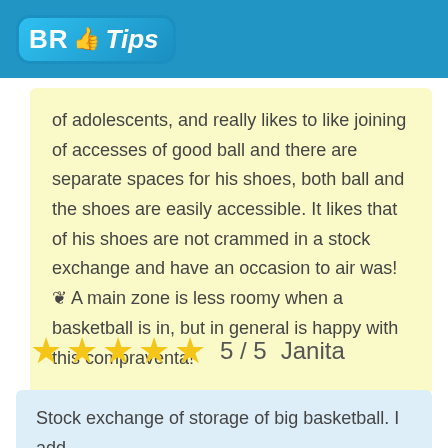BR Tips
of adolescents, and really likes to like joining of accesses of good ball and there are separate spaces for his shoes, both ball and the shoes are easily accessible. It likes that of his shoes are not crammed in a stock exchange and have an occasion to air was! ♥ A main zone is less roomy when a basketball is in, but in general is happy with this compraventa!
5 / 5  Janita
Stock exchange of storage of big basketball. I add